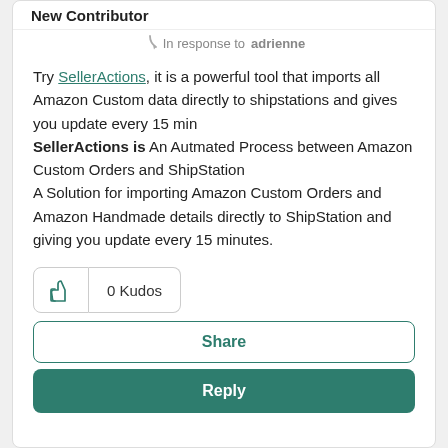New Contributor
In response to adrienne
Try SellerActions, it is a powerful tool that imports all Amazon Custom data directly to shipstations and gives you update every 15 min
SellerActions is An Autmated Process between Amazon Custom Orders and ShipStation
A Solution for importing Amazon Custom Orders and Amazon Handmade details directly to ShipStation and giving you update every 15 minutes.
0 Kudos
Share
Reply